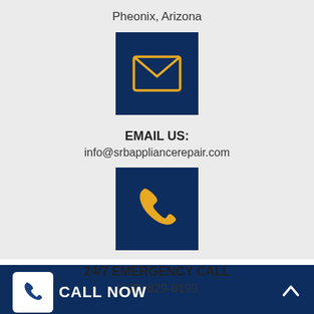Pheonix, Arizona
[Figure (illustration): Dark navy square icon with a gold envelope/email symbol]
EMAIL US:
info@srbappliancerepair.com
[Figure (illustration): Dark navy square icon with a gold telephone receiver symbol]
24/7 EMERGENCY CALL
(615) 829-8199
CALL NOW